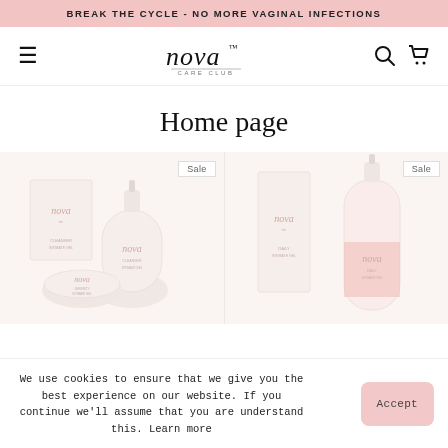BREAK THE CYCLE - NO MORE VAGINAL INFECTIONS
[Figure (logo): Nova Care Club logo with italic serif text and small underline subtitle]
Home page
[Figure (photo): Nova Care Club skincare products on light pink background, left product card with Sale badge]
[Figure (photo): Nova Care Club skincare products on light pink background, right product card with Sale badge]
We use cookies to ensure that we give you the best experience on our website. If you continue we'll assume that you are understand this. Learn more